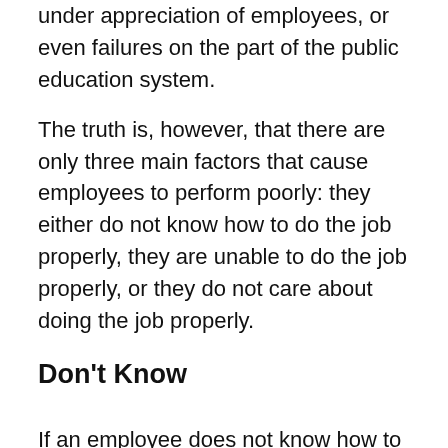under appreciation of employees, or even failures on the part of the public education system.
The truth is, however, that there are only three main factors that cause employees to perform poorly: they either do not know how to do the job properly, they are unable to do the job properly, or they do not care about doing the job properly.
Don't Know
If an employee does not know how to do carry out their tasks as expected, it simply means that they lack the proper instruction or have forgotten their training and need a refresher. There is no shame in needing additional training throughout a career, so management must be willing to provide this training when needed.